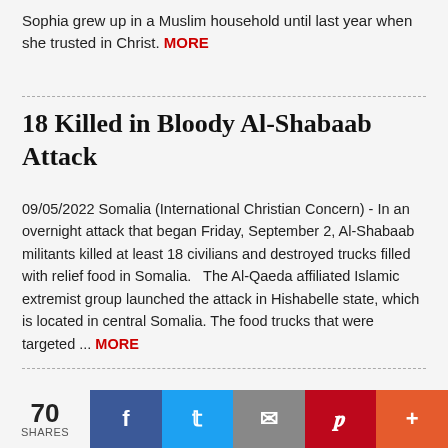Sophia grew up in a Muslim household until last year when she trusted in Christ. MORE
18 Killed in Bloody Al-Shabaab Attack
09/05/2022 Somalia (International Christian Concern) - In an overnight attack that began Friday, September 2, Al-Shabaab militants killed at least 18 civilians and destroyed trucks filled with relief food in Somalia.   The Al-Qaeda affiliated Islamic extremist group launched the attack in Hishabelle state, which is located in central Somalia. The food trucks that were targeted ... MORE
70 SHARES [Facebook] [Twitter] [Email] [Pinterest] [+]